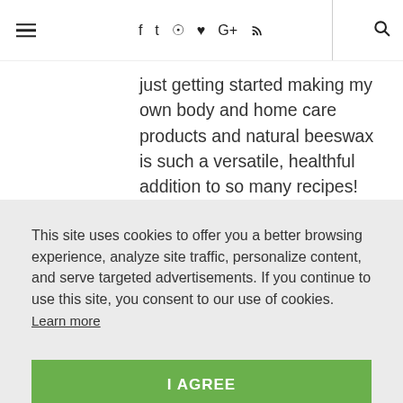≡  f  𝕏  ⊙  𝓟  G+  ⊃  🔍
just getting started making my own body and home care products and natural beeswax is such a versatile, healthful addition to so many recipes!
This site uses cookies to offer you a better browsing experience, analyze site traffic, personalize content, and serve targeted advertisements. If you continue to use this site, you consent to our use of cookies.
Learn more
I AGREE